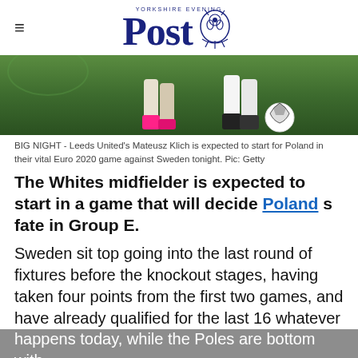Yorkshire Evening Post
[Figure (photo): Soccer players' legs on a green pitch with a football, close-up action shot]
BIG NIGHT - Leeds United's Mateusz Klich is expected to start for Poland in their vital Euro 2020 game against Sweden tonight. Pic: Getty
The Whites midfielder is expected to start in a game that will decide Poland s fate in Group E.
Sweden sit top going into the last round of fixtures before the knockout stages, having taken four points from the first two games, and have already qualified for the last 16 whatever happens today, while the Poles are bottom with